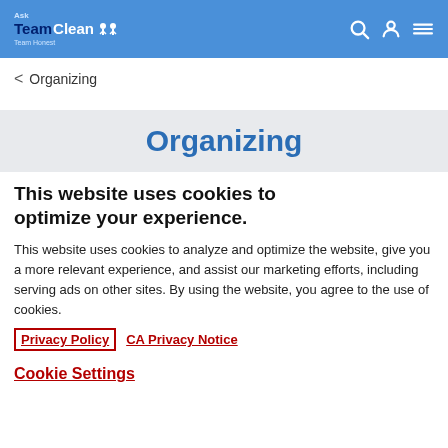Ask TeamClean - Team Honest
< Organizing
Organizing
This website uses cookies to optimize your experience.
This website uses cookies to analyze and optimize the website, give you a more relevant experience, and assist our marketing efforts, including serving ads on other sites. By using the website, you agree to the use of cookies.
Privacy Policy   CA Privacy Notice
Cookie Settings